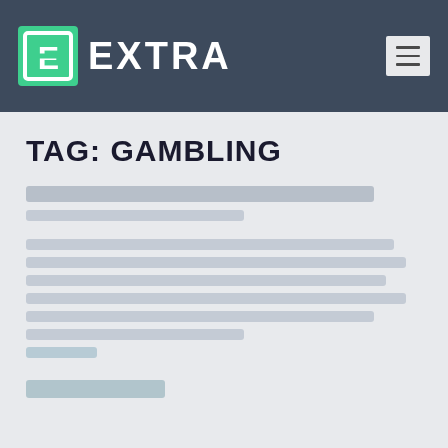[Figure (logo): Extra TV logo with green E icon and white EXTRA text on dark blue-gray header bar with hamburger menu icon]
TAG: GAMBLING
[Blurred article title and body text related to gambling content — obscured/redacted in source]
READ MORE